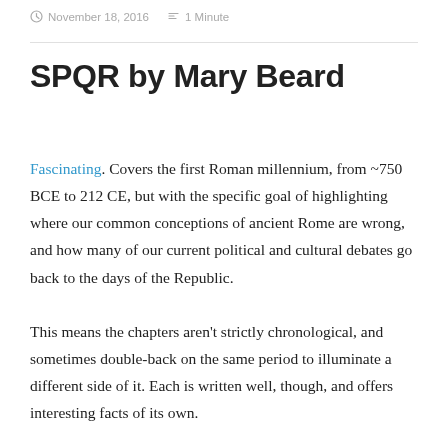November 18, 2016  1 Minute
SPQR by Mary Beard
Fascinating. Covers the first Roman millennium, from ~750 BCE to 212 CE, but with the specific goal of highlighting where our common conceptions of ancient Rome are wrong, and how many of our current political and cultural debates go back to the days of the Republic.
This means the chapters aren't strictly chronological, and sometimes double-back on the same period to illuminate a different side of it. Each is written well, though, and offers interesting facts of its own.